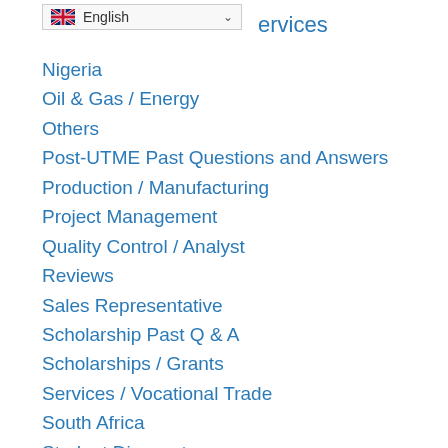[Figure (screenshot): Language selector dropdown showing UK flag and 'English' text with dropdown arrow]
services
Nigeria
Oil & Gas / Energy
Others
Post-UTME Past Questions and Answers
Production / Manufacturing
Project Management
Quality Control / Analyst
Reviews
Sales Representative
Scholarship Past Q & A
Scholarships / Grants
Services / Vocational Trade
South Africa
Student Discount